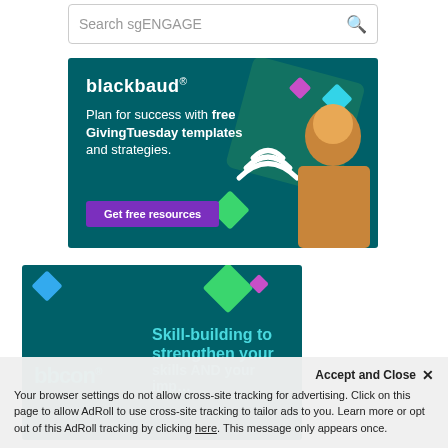[Figure (screenshot): Search bar with placeholder text 'Search sgENGAGE' and a magnifying glass icon on the right]
[Figure (other): Blackbaud advertisement on teal background: logo 'blackbaud' at top left, text 'Plan for success with free GivingTuesday templates and strategies.', purple button 'Get free resources', decorative geometric diamond shapes and smiling woman in yellow top on right side]
[Figure (other): bbcon advertisement on teal background: bbcon logo in cyan at bottom left, text 'Skill-building to strengthen your skills AND your imp...' partially visible, geometric diamond shapes at top]
Accept and Close ✕
Your browser settings do not allow cross-site tracking for advertising. Click on this page to allow AdRoll to use cross-site tracking to tailor ads to you. Learn more or opt out of this AdRoll tracking by clicking here. This message only appears once.